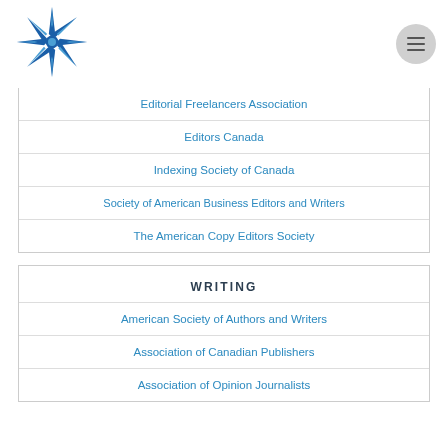[Figure (logo): Star/snowflake decorative logo in blue and white]
Editorial Freelancers Association
Editors Canada
Indexing Society of Canada
Society of American Business Editors and Writers
The American Copy Editors Society
WRITING
American Society of Authors and Writers
Association of Canadian Publishers
Association of Opinion Journalists